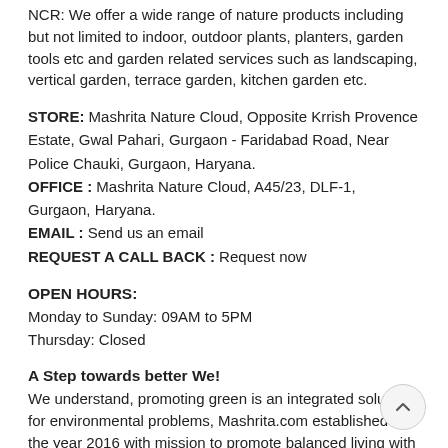NCR: We offer a wide range of nature products including but not limited to indoor, outdoor plants, planters, garden tools etc and garden related services such as landscaping, vertical garden, terrace garden, kitchen garden etc.
STORE: Mashrita Nature Cloud, Opposite Krrish Provence Estate, Gwal Pahari, Gurgaon - Faridabad Road, Near Police Chauki, Gurgaon, Haryana.
OFFICE : Mashrita Nature Cloud, A45/23, DLF-1, Gurgaon, Haryana.
EMAIL : Send us an email
REQUEST A CALL BACK : Request now
OPEN HOURS:
Monday to Sunday: 09AM to 5PM
Thursday: Closed
A Step towards better We!
We understand, promoting green is an integrated solution for environmental problems, Mashrita.com established in the year 2016 with mission to promote balanced living with the nature, preserve our origin from Vedas and Mashrita name is inspired from